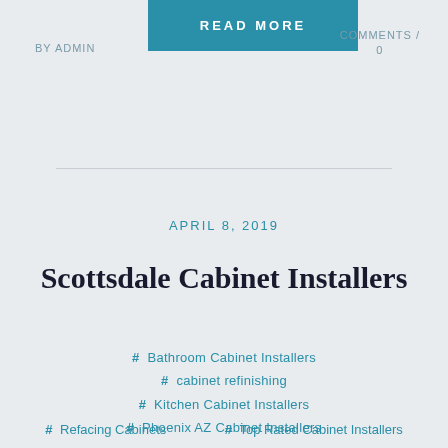BY ADMIN
READ MORE
COMMENTS / 0
APRIL 8, 2019
Scottsdale Cabinet Installers
# Bathroom Cabinet Installers
# cabinet refinishing
# Kitchen Cabinet Installers
# Phoenix AZ Cabinet Installers
# Refacing Cabinets
# Top Rated Cabinet Installers